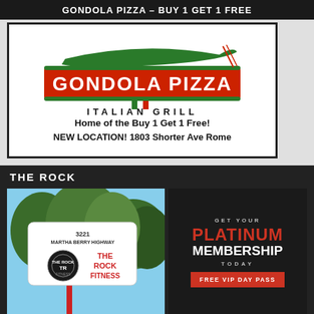GONDOLA PIZZA – BUY 1 GET 1 FREE
[Figure (logo): Gondola Pizza Italian Grill logo with gondola boat graphic, red and green colors, bordered advertisement]
Home of the Buy 1 Get 1 Free!
NEW LOCATION! 1803 Shorter Ave Rome
THE ROCK
[Figure (photo): Street sign for The Rock Fitness at 3221 Martha Berry Highway with trees in background]
[Figure (infographic): Dark advertisement panel: GET YOUR PLATINUM MEMBERSHIP TODAY with FREE VIP DAY PASS button]